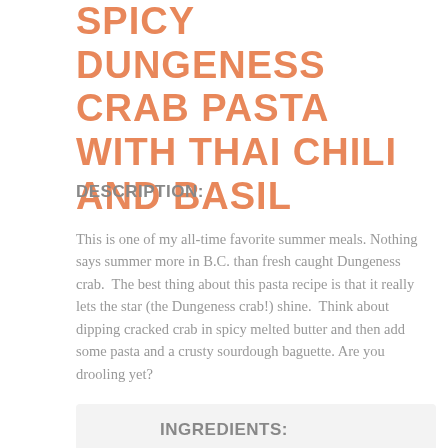SPICY DUNGENESS CRAB PASTA WITH THAI CHILI AND BASIL
DESCRIPTION:
This is one of my all-time favorite summer meals. Nothing says summer more in B.C. than fresh caught Dungeness crab.  The best thing about this pasta recipe is that it really lets the star (the Dungeness crab!) shine.  Think about dipping cracked crab in spicy melted butter and then add some pasta and a crusty sourdough baguette. Are you drooling yet?
INGREDIENTS: